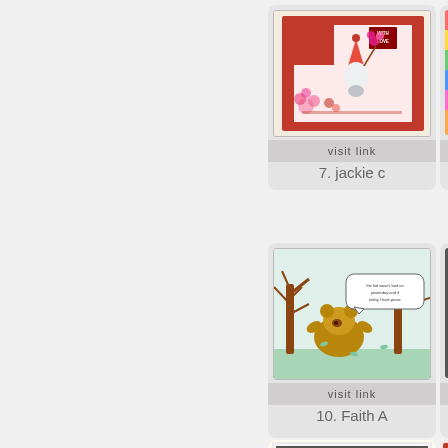[Figure (photo): Craft card with gnome holding flowers, red houndstooth border, pink flowers embellishments, 'With Love' text label]
visit link
7. jackie c
[Figure (photo): Partial view of colorful craft card with tree and bird design, partially cropped on right edge]
v
8.
[Figure (photo): Craft card with illustrated tree and bear with speech bubble reading 'The kid wasn't bad on yesterday and if today I hate picnic']
visit link
10. Faith A
[Figure (photo): Partial view of craft card with animal on dark background, partially cropped on right edge]
v
11.
[Figure (photo): Partial view of bottom row craft card with 'Have a WILD Birthday' text, partially cropped]
[Figure (photo): Partial view of bottom row craft card, partially cropped on right edge]